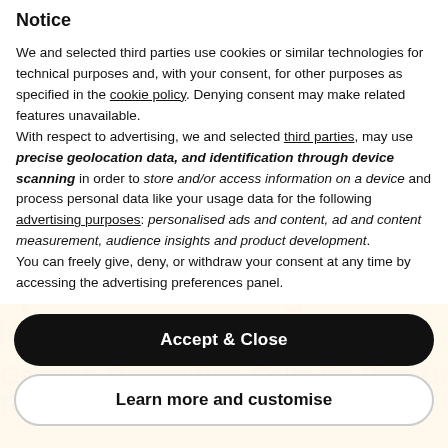Notice
We and selected third parties use cookies or similar technologies for technical purposes and, with your consent, for other purposes as specified in the cookie policy. Denying consent may make related features unavailable.
With respect to advertising, we and selected third parties, may use precise geolocation data, and identification through device scanning in order to store and/or access information on a device and process personal data like your usage data for the following advertising purposes: personalised ads and content, ad and content measurement, audience insights and product development.
You can freely give, deny, or withdraw your consent at any time by accessing the advertising preferences panel.
Accept & Close
Learn more and customise